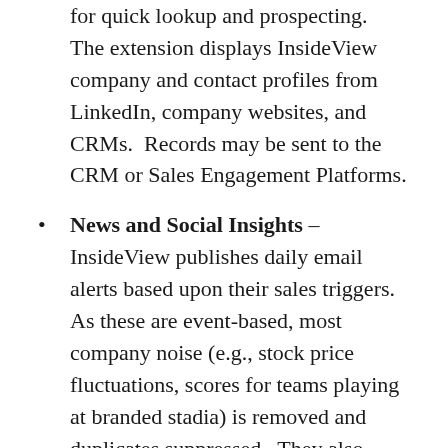Browser Extension – A Chrome extension for quick lookup and prospecting. The extension displays InsideView company and contact profiles from LinkedIn, company websites, and CRMs. Records may be sent to the CRM or Sales Engagement Platforms.
News and Social Insights – InsideView publishes daily email alerts based upon their sales triggers. As these are event-based, most company noise (e.g., stock price fluctuations, scores for teams playing at branded stadia) is removed and duplicates suppressed. They also support inline social media viewing for Facebook, Twitter, and Company Blogs. Inline viewing helps account managers and customer success teams stay abreast